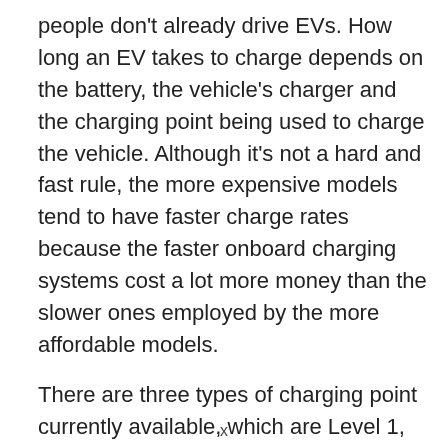people don't already drive EVs. How long an EV takes to charge depends on the battery, the vehicle's charger and the charging point being used to charge the vehicle. Although it's not a hard and fast rule, the more expensive models tend to have faster charge rates because the faster onboard charging systems cost a lot more money than the slower ones employed by the more affordable models.
There are three types of charging point currently available, which are Level 1, Level 2 and DC Fast Chargers.
Level 1 – This is the most basic form of
x